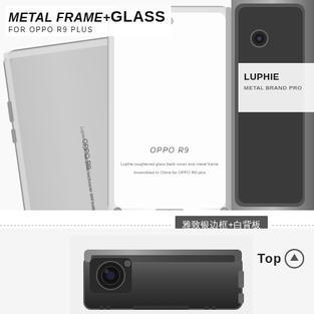METAL FRAME+GLASS
FOR OPPO R9 PLUS
[Figure (photo): Product photo showing three OPPO R9 Plus phone cases with metal frame and glass back cover - silver/white and dark variants shown from back angle, with LUPHIE METAL BRAND PRO branding visible on right]
雅致银边框+白背板
[Figure (photo): Close-up top view of dark colored metal frame phone case showing camera cutout area and metal edges, with 'Top' arrow label]